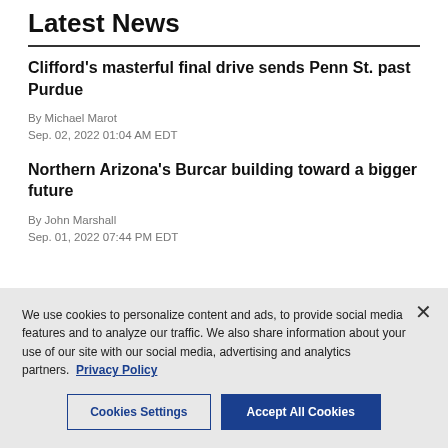Latest News
Clifford's masterful final drive sends Penn St. past Purdue
By Michael Marot
Sep. 02, 2022 01:04 AM EDT
Northern Arizona's Burcar building toward a bigger future
By John Marshall
Sep. 01, 2022 07:44 PM EDT
We use cookies to personalize content and ads, to provide social media features and to analyze our traffic. We also share information about your use of our site with our social media, advertising and analytics partners. Privacy Policy
Cookies Settings
Accept All Cookies